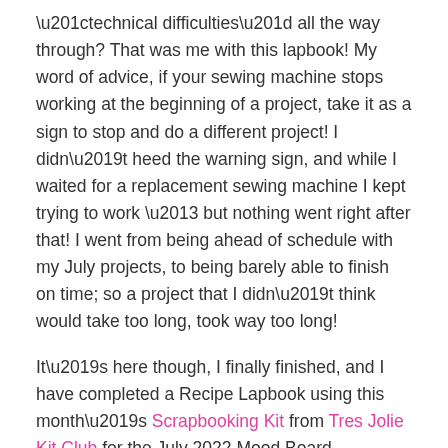“technical difficulties” all the way through? That was me with this lapbook! My word of advice, if your sewing machine stops working at the beginning of a project, take it as a sign to stop and do a different project! I didn’t heed the warning sign, and while I waited for a replacement sewing machine I kept trying to work – but nothing went right after that! I went from being ahead of schedule with my July projects, to being barely able to finish on time; so a project that I didn’t think would take too long, took way too long!
It’s here though, I finally finished, and I have completed a Recipe Lapbook using this month’s Scrapbooking Kit from Tres Jolie Kit Club for the July 2022 Mood Board.